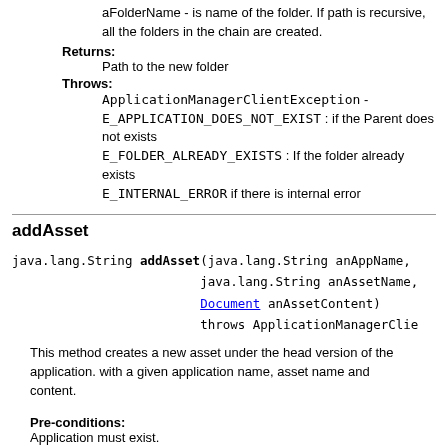aFolderName - is name of the folder. If path is recursive, all the folders in the chain are created.
Returns:
Path to the new folder
Throws:
ApplicationManagerClientException - E_APPLICATION_DOES_NOT_EXIST : if the Parent does not exists
E_FOLDER_ALREADY_EXISTS : If the folder already exists
E_INTERNAL_ERROR if there is internal error
addAsset
java.lang.String addAsset(java.lang.String anAppName, java.lang.String anAssetName, Document anAssetContent) throws ApplicationManagerClie
This method creates a new asset under the head version of the application. with a given application name, asset name and content.
Pre-conditions:
Application must exist.
Post-conditions:
A new asset will be added under the application path.
Parameters: